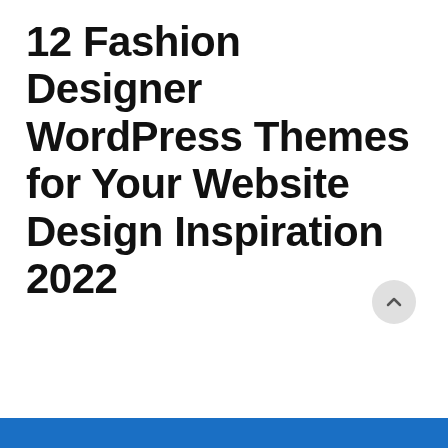12 Fashion Designer WordPress Themes for Your Website Design Inspiration 2022
[Figure (other): Scroll-to-top circular button with upward chevron arrow]